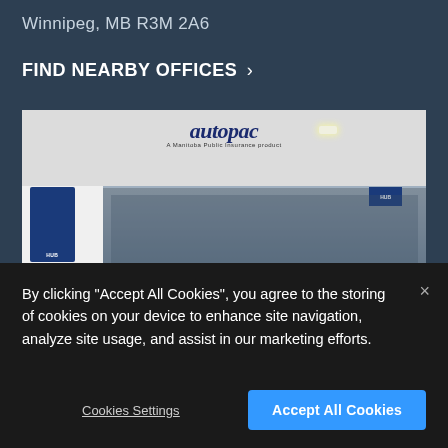Winnipeg, MB R3M 2A6
FIND NEARBY OFFICES >
[Figure (photo): Interior photo of an autopac (A Manitoba Public Insurance product) office inside a building, showing the storefront with glass walls, HUB branding posters, and staff working at desks inside.]
By clicking “Accept All Cookies”, you agree to the storing of cookies on your device to enhance site navigation, analyze site usage, and assist in our marketing efforts.
Cookies Settings
Accept All Cookies